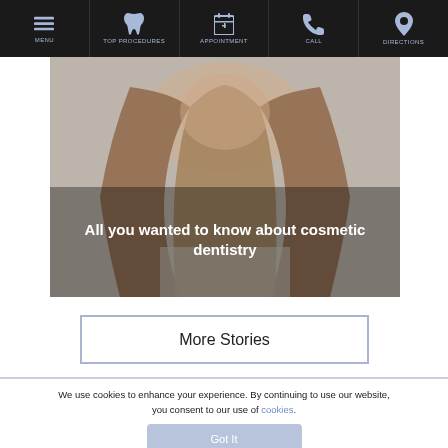MENU | TOP PROCEDURES | APPOINTMENT | CALL | DIRECTIONS
[Figure (photo): Woman with long brown/blonde hair, hero image for dental website with overlay text 'All you wanted to know about cosmetic dentistry']
All you wanted to know about cosmetic dentistry
More Stories
We use cookies to enhance your experience. By continuing to use our website, you consent to our use of cookies.
Got It